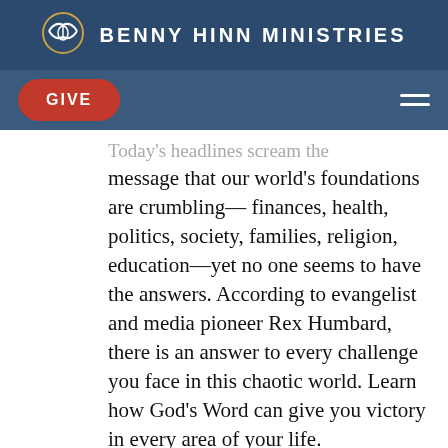BENNY HINN MINISTRIES
GIVE
Today's headlines scream the message that our world's foundations are crumbling—finances, health, politics, society, families, religion, education—yet no one seems to have the answers. According to evangelist and media pioneer Rex Humbard, there is an answer to every challenge you face in this chaotic world. Learn how God's Word can give you victory in every area of your life. Claim your victory!
Add to cart   Details